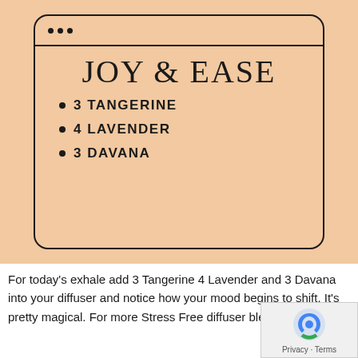[Figure (infographic): A browser-window styled card on a peach/salmon background showing the title 'JOY & EASE' in large serif font, with three bullet points listing: 3 TANGERINE, 4 LAVENDER, 3 DAVANA]
For today's exhale add 3 Tangerine 4 Lavender and 3 Davana into your diffuser and notice how your mood begins to shift. It's pretty magical. For more Stress Free diffuser blends, tap h...